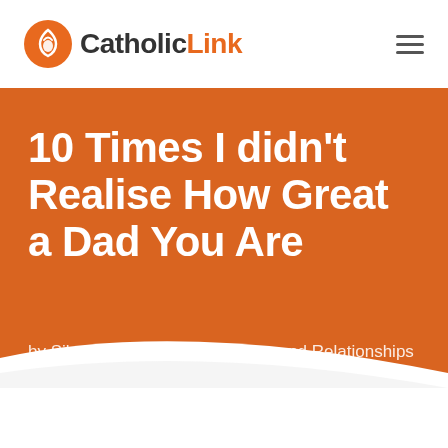CatholicLink
10 Times I didn't Realise How Great a Dad You Are
by Silvana Ramos | Family, Love and Relationships